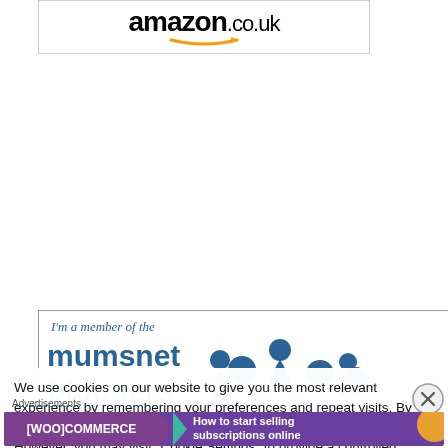[Figure (logo): Amazon.co.uk logo with orange arrow swoosh]
[Figure (logo): Mumsnet Bloggers Network badge with italic text 'I'm a member of the' and blue silhouette graphic]
We use cookies on our website to give you the most relevant experience by remembering your preferences and repeat visits. By clicking “Accept All”, you consent to the use of ALL the cookies. However, you may visit "Cookie Settings" to provide a controlled consent.
Advertisements
[Figure (screenshot): WooCommerce advertisement banner: 'How to start selling subscriptions online']